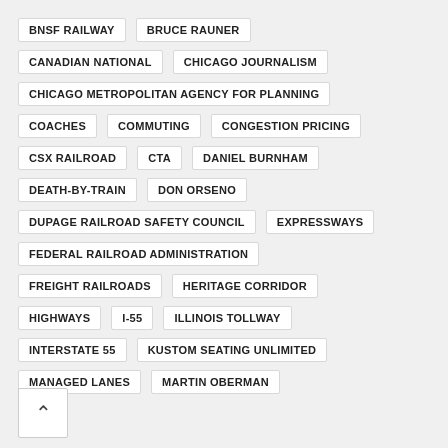BNSF RAILWAY
BRUCE RAUNER
CANADIAN NATIONAL
CHICAGO JOURNALISM
CHICAGO METROPOLITAN AGENCY FOR PLANNING
COACHES
COMMUTING
CONGESTION PRICING
CSX RAILROAD
CTA
DANIEL BURNHAM
DEATH-BY-TRAIN
DON ORSENO
DUPAGE RAILROAD SAFETY COUNCIL
EXPRESSWAYS
FEDERAL RAILROAD ADMINISTRATION
FREIGHT RAILROADS
HERITAGE CORRIDOR
HIGHWAYS
I-55
ILLINOIS TOLLWAY
INTERSTATE 55
KUSTOM SEATING UNLIMITED
MANAGED LANES
MARTIN OBERMAN